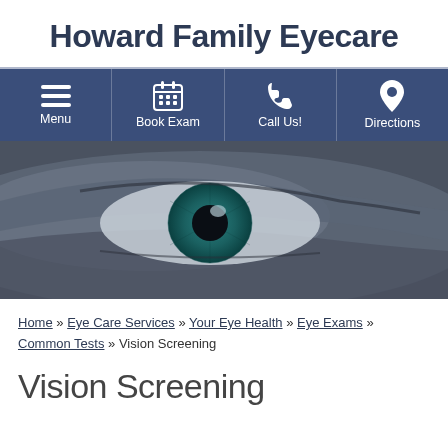Howard Family Eyecare
[Figure (infographic): Navigation bar with four icon buttons: Menu (hamburger icon), Book Exam (calendar icon), Call Us! (phone icon), Directions (map pin icon) on dark blue background]
[Figure (photo): Close-up photo of a human eye with blue-green iris on a dark gray background]
Home » Eye Care Services » Your Eye Health » Eye Exams » Common Tests » Vision Screening
Vision Screening